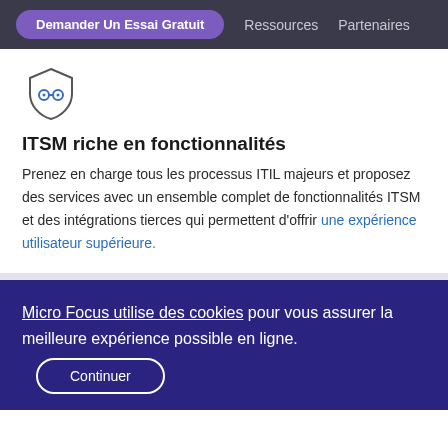Demander Un Essai Gratuit | Ressources | Partenaires
[Figure (illustration): Shield icon with gear/settings symbols inside]
ITSM riche en fonctionnalités
Prenez en charge tous les processus ITIL majeurs et proposez des services avec un ensemble complet de fonctionnalités ITSM et des intégrations tierces qui permettent d'offrir une expérience utilisateur supérieure.
Micro Focus utilise des cookies pour vous assurer la meilleure expérience possible en ligne.
Continuer